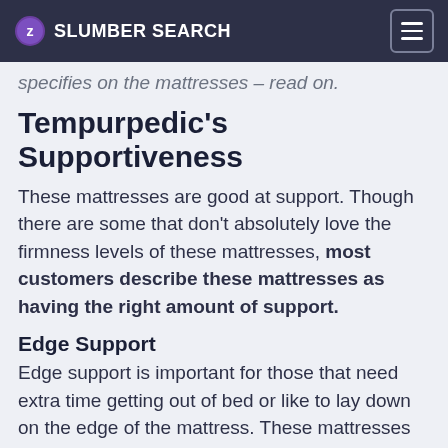SLUMBER SEARCH
specifies on the mattresses – read on.
Tempurpedic's Supportiveness
These mattresses are good at support. Though there are some that don't absolutely love the firmness levels of these mattresses, most customers describe these mattresses as having the right amount of support.
Edge Support
Edge support is important for those that need extra time getting out of bed or like to lay down on the edge of the mattress. These mattresses do well on